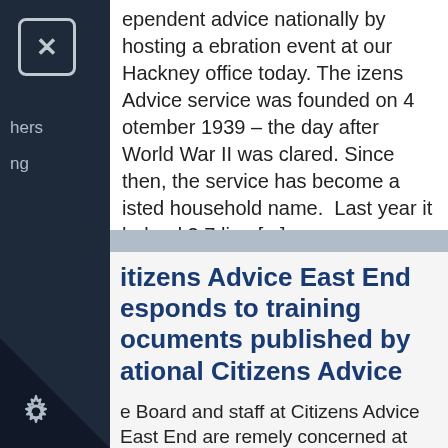ependent advice nationally by hosting a ebration event at our Hackney office today. The izens Advice service was founded on 4 otember 1939 – the day after World War II was clared. Since then, the service has become a isted household name.  Last year it helped 2.7 lion [...]
itizens Advice East End esponds to training ocuments published by ational Citizens Advice
e Board and staff at Citizens Advice East End are remely concerned at reports that a training ment adopted by national Citizens Advice has